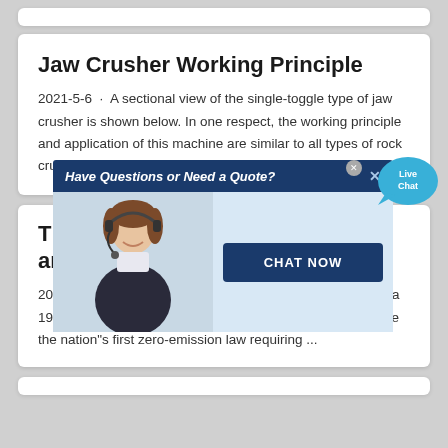Jaw Crusher Working Principle
2021-5-6 · A sectional view of the single-toggle type of jaw crusher is shown below. In one respect, the working principle and application of this machine are similar to all types of rock crushers, the movable jaw has its maximum movement a…
[Figure (screenshot): Live chat popup overlay with banner 'Have Questions or Need a Quote?', photo of customer service agent with headset, and 'CHAT NOW' button. A 'Live Chat' speech bubble appears in upper right.]
There"s a … oned in an ...
2019-12-6 · The EV1 was developed mainly in reaction to a 1990 move by the California Air Resources Board to institute the nation"s first zero-emission law requiring ...